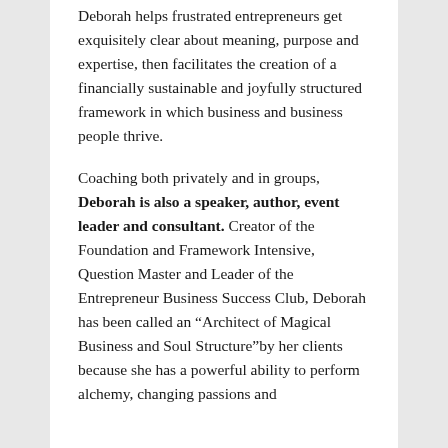Deborah helps frustrated entrepreneurs get exquisitely clear about meaning, purpose and expertise, then facilitates the creation of a financially sustainable and joyfully structured framework in which business and business people thrive.
Coaching both privately and in groups, Deborah is also a speaker, author, event leader and consultant. Creator of the Foundation and Framework Intensive, Question Master and Leader of the Entrepreneur Business Success Club, Deborah has been called an “Architect of Magical Business and Soul Structure”by her clients because she has a powerful ability to perform alchemy, changing passions and